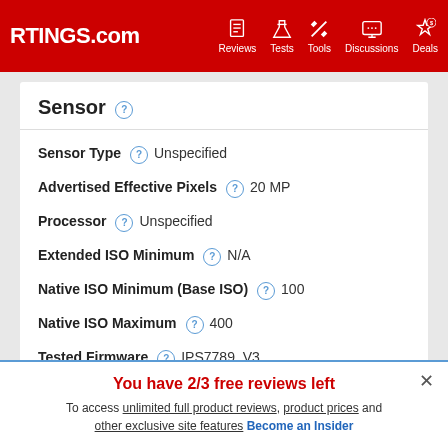RTINGS.com — Reviews | Tests | Tools | Discussions | Deals
Sensor
| Property | Value |
| --- | --- |
| Sensor Type | Unspecified |
| Advertised Effective Pixels | 20 MP |
| Processor | Unspecified |
| Extended ISO Minimum | N/A |
| Native ISO Minimum (Base ISO) | 100 |
| Native ISO Maximum | 400 |
| Tested Firmware | IPS7789_V3 |
You have 2/3 free reviews left
To access unlimited full product reviews, product prices and other exclusive site features Become an Insider